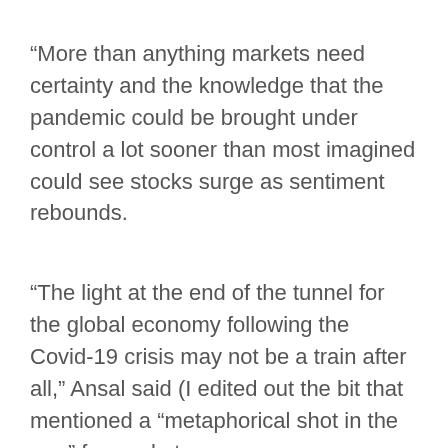“More than anything markets need certainty and the knowledge that the pandemic could be brought under control a lot sooner than most imagined could see stocks surge as sentiment rebounds.
“The light at the end of the tunnel for the global economy following the Covid-19 crisis may not be a train after all,” Ansal said (I edited out the bit that mentioned a “metaphorical shot in the arm” for markets.